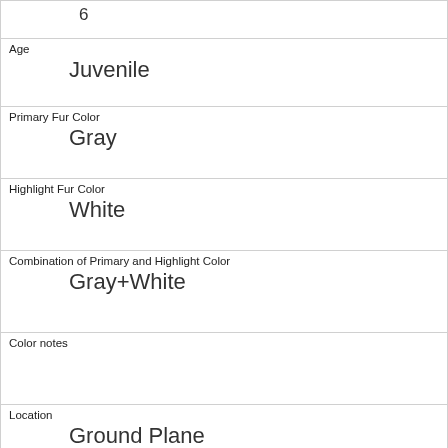| 6 |
| Age
Juvenile |
| Primary Fur Color
Gray |
| Highlight Fur Color
White |
| Combination of Primary and Highlight Color
Gray+White |
| Color notes
 |
| Location
Ground Plane |
| Above Ground Sighter Measurement
FALSE |
| Specific Location
 |
| Running
0 |
| Chasing
0 |